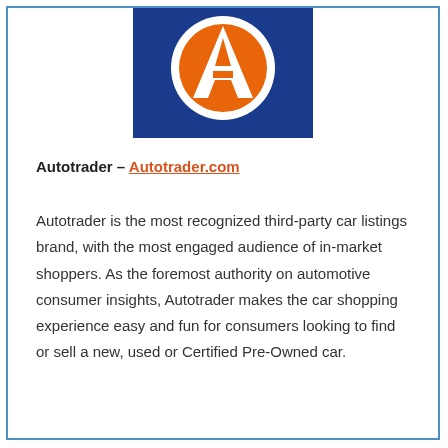[Figure (logo): Autotrader logo — orange letter A on a circular badge with white ring, set against a dark blue square background]
Autotrader – Autotrader.com
Autotrader is the most recognized third-party car listings brand, with the most engaged audience of in-market shoppers. As the foremost authority on automotive consumer insights, Autotrader makes the car shopping experience easy and fun for consumers looking to find or sell a new, used or Certified Pre-Owned car.